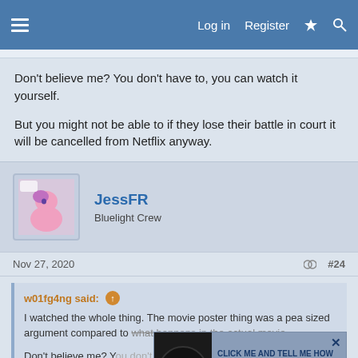Log in  Register
Don't believe me? You don't have to, you can watch it yourself.
But you might not be able to if they lose their battle in court it will be cancelled from Netflix anyway.
JessFR
Bluelight Crew
Nov 27, 2020  #24
w01fg4ng said:
I watched the whole thing. The movie poster thing was a pea sized argument compared to what happens in the actual movie.

Don't believe me? You don't have to, you can watch it yourself.

But you might not be able to if they lose their battle in court it will be cancelled from Netflix anyway.
[Figure (screenshot): Ad overlay: dark side logo with text 'CLICK ME AND TELL ME HOW DO YOU FEEL IN 1 WORD – Honestly, How Are You In One Word..Just 1']